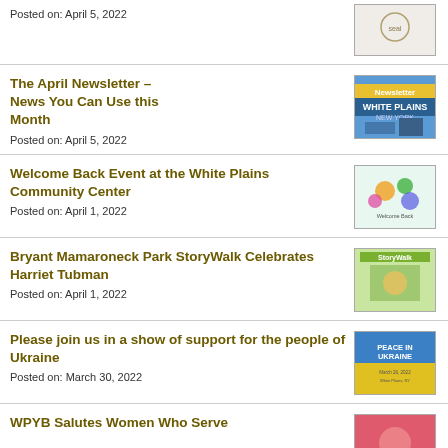Posted on: April 5, 2022
[Figure (photo): Partial image visible at top right]
The April Newsletter – News You Can Use this Month
Posted on: April 5, 2022
[Figure (photo): White Plains New York Newsletter banner image]
Welcome Back Event at the White Plains Community Center
Posted on: April 1, 2022
[Figure (photo): Welcome Back colorful event image]
Bryant Mamaroneck Park StoryWalk Celebrates Harriet Tubman
Posted on: April 1, 2022
[Figure (photo): StoryWalk book cover image]
Please join us in a show of support for the people of Ukraine
Posted on: March 30, 2022
[Figure (photo): Peace in Ukraine blue and yellow poster]
WPYB Salutes Women Who Serve
[Figure (photo): Partial colorful image at bottom right]